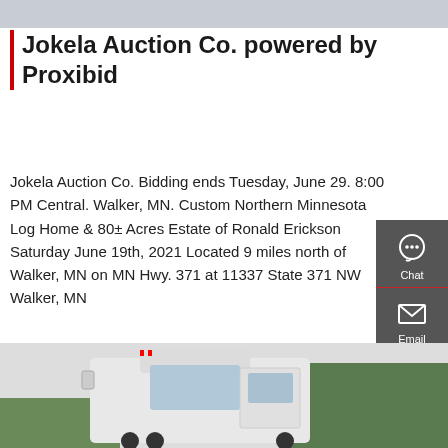[Figure (photo): Partial photo strip at top of page, showing a road or outdoor scene in grey tones]
Jokela Auction Co. powered by Proxibid
Jokela Auction Co. Bidding ends Tuesday, June 29. 8:00 PM Central. Walker, MN. Custom Northern Minnesota Log Home & 80± Acres Estate of Ronald Erickson Saturday June 19th, 2021 Located 9 miles north of Walker, MN on MN Hwy. 371 at 11337 State 371 NW Walker, MN
[Figure (infographic): Dark grey sidebar with Chat, Email, Contact, and Top navigation icons]
[Figure (photo): Partial photo at bottom of page showing a white semi-truck cab in front of trees]
Get a Quote